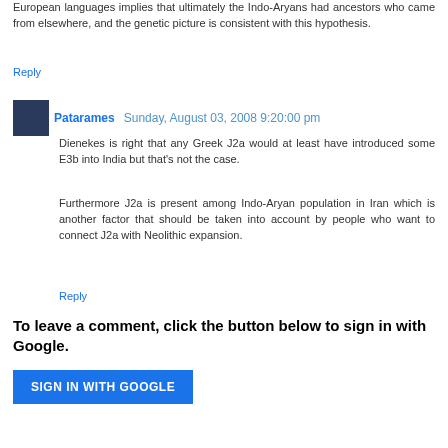European languages implies that ultimately the Indo-Aryans had ancestors who came from elsewhere, and the genetic picture is consistent with this hypothesis.
Reply
Patarames  Sunday, August 03, 2008 9:20:00 pm
Dienekes is right that any Greek J2a would at least have introduced some E3b into India but that's not the case.
Furthermore J2a is present among Indo-Aryan population in Iran which is another factor that should be taken into account by people who want to connect J2a with Neolithic expansion.
Reply
To leave a comment, click the button below to sign in with Google.
SIGN IN WITH GOOGLE